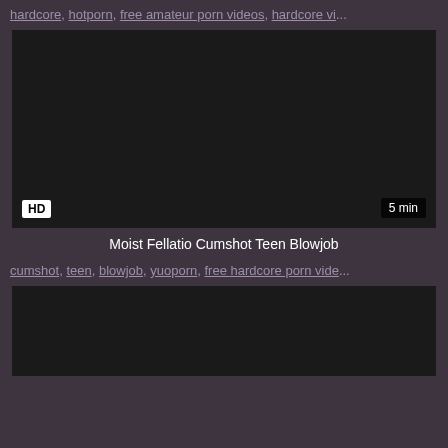hardcore, hotporn, free amateur porn videos, hardcore vi...
[Figure (screenshot): Dark video thumbnail with HD badge bottom-left and 5 min duration badge bottom-right]
Moist Fellatio Cumshot Teen Blowjob
cumshot, teen, blowjob, yuoporn, free hardcore porn vide...
[Figure (screenshot): Dark video thumbnail, partially visible at bottom of page]